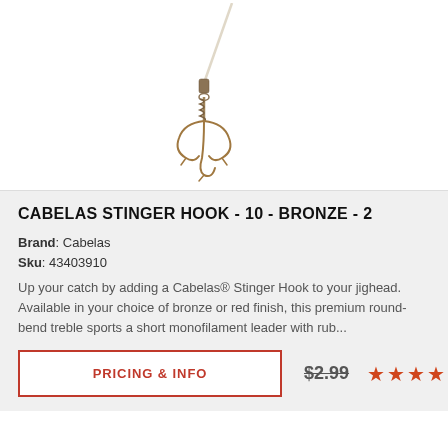[Figure (photo): Cabelas stinger hook - bronze treble hook on monofilament leader line, shown on white background]
CABELAS STINGER HOOK - 10 - BRONZE - 2
Brand: Cabelas
Sku: 43403910
Up your catch by adding a Cabelas® Stinger Hook to your jighead. Available in your choice of bronze or red finish, this premium round-bend treble sports a short monofilament leader with rub...
PRICING & INFO
$2.99
★★★★★